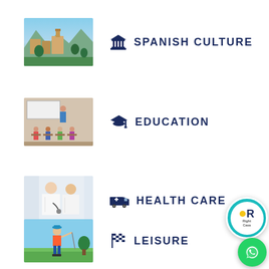[Figure (photo): Thumbnail image of Spanish landscape/architecture (Alhambra or similar)]
🏛 SPANISH CULTURE
[Figure (photo): Thumbnail image of a classroom with students and a teacher]
🎓 EDUCATION
[Figure (photo): Thumbnail image of doctors/medical professionals in white coats]
🚑 HEALTH CARE
[Figure (photo): Thumbnail image of a golfer playing golf on a course]
🏁 LEISURE
[Figure (logo): RightCasa circular logo badge with teal background]
[Figure (logo): WhatsApp green circular button]